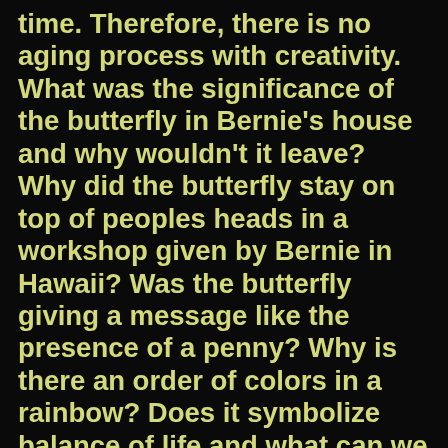time. Therefore, there is no aging process with creativity. What was the significance of the butterfly in Bernie's house and why wouldn't it leave? Why did the butterfly stay on top of peoples heads in a workshop given by Bernie in Hawaii? Was the butterfly giving a message like the presence of a penny? Why is there an order of colors in a rainbow? Does it symbolize balance of life and what can we learn from it? What can we learn from nature? Bernie always says to quiet the mind to connect to your inner voice. Pennies are from heaven reminds us that there is a mysterious world that we may never fully understand. The more we quiet our mind, the more we will respect the mystery of life and respect its natural wisdom.